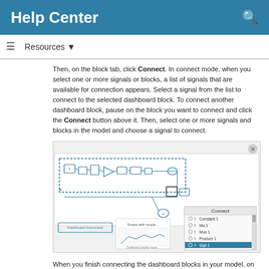Help Center
Then, on the block tab, click Connect. In connect mode, when you select one or more signals or blocks, a list of signals that are available for connection appears. Select a signal from the list to connect to the selected dashboard block. To connect another dashboard block, pause on the block you want to connect and click the Connect button above it. Then, select one or more signals and blocks in the model and choose a signal to connect.
[Figure (screenshot): Screenshot of a Simulink model in connect mode showing blocks connected with signal lines, and a Connect panel on the right listing signals: Constant1, Mu1, Mux1, Product1, Square1, Sqrt1, Sum1, x1]
When you finish connecting the dashboard blocks in your model, on the block tab, click Done Connecting.